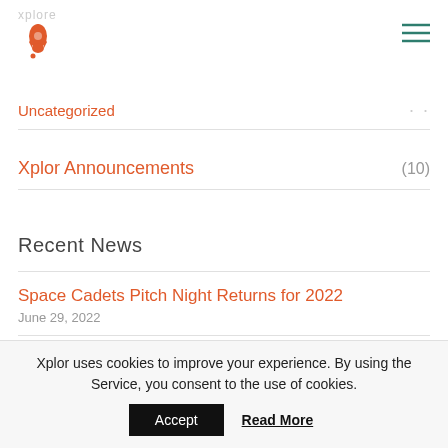Xplor rocket logo and hamburger menu
Uncategorized
Xplor Announcements (10)
Recent News
Space Cadets Pitch Night Returns for 2022 — June 29, 2022
Increased funding and overhaul of preschool education for NSW and Victoria
Xplor uses cookies to improve your experience. By using the Service, you consent to the use of cookies.